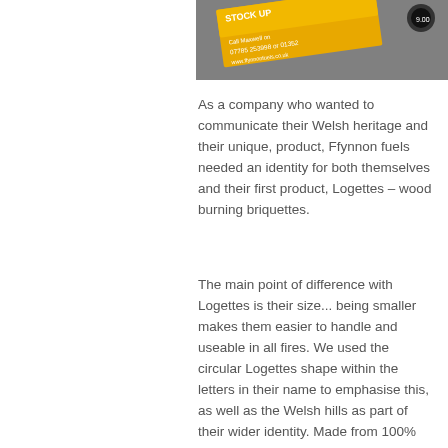[Figure (photo): Top portion of a product label/business card for Ffynnon fuels showing text 'STOCK UP', phone number 07785 253998 or 01352, and website www.ffynnonfuels.co.uk, with an orange/yellow diagonal label design against a grey background.]
As a company who wanted to communicate their Welsh heritage and their unique, product, Ffynnon fuels needed an identity for both themselves and their first product, Logettes – wood burning briquettes.
The main point of difference with Logettes is their size... being smaller makes them easier to handle and useable in all fires. We used the circular Logettes shape within the letters in their name to emphasise this, as well as the Welsh hills as part of their wider identity. Made from 100% recycled materials too...